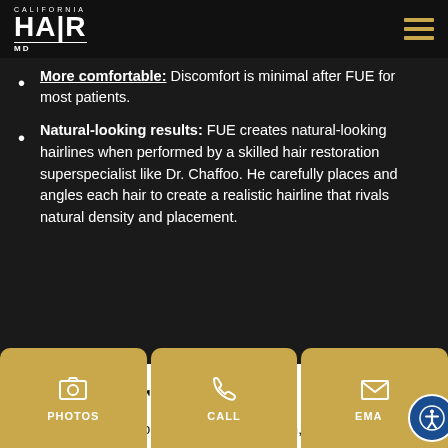CALIFORNIA HAIR MD
More comfortable: Discomfort is minimal after FUE for most patients.
Natural-looking results: FUE creates natural-looking hairlines when performed by a skilled hair restoration superspecialist like Dr. Chaffoo. He carefully places and angles each hair to create a realistic hairline that rivals natural density and placement.
Considerations
FUE is an excellent option for hair restoration, but